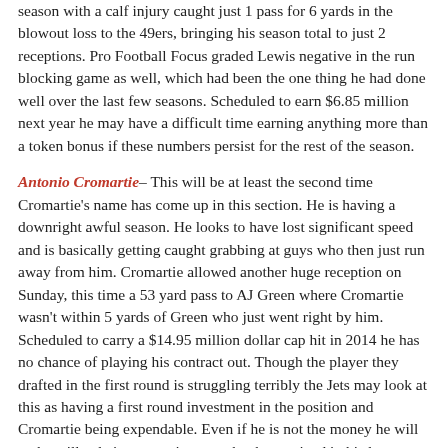season with a calf injury caught just 1 pass for 6 yards in the blowout loss to the 49ers, bringing his season total to just 2 receptions. Pro Football Focus graded Lewis negative in the run blocking game as well, which had been the one thing he had done well over the last few seasons. Scheduled to earn $6.85 million next year he may have a difficult time earning anything more than a token bonus if these numbers persist for the rest of the season.
Antonio Cromartie– This will be at least the second time Cromartie's name has come up in this section. He is having a downright awful season. He looks to have lost significant speed and is basically getting caught grabbing at guys who then just run away from him. Cromartie allowed another huge reception on Sunday, this time a 53 yard pass to AJ Green where Cromartie wasn't within 5 yards of Green who just went right by him. Scheduled to carry a $14.95 million dollar cap hit in 2014 he has no chance of playing his contract out. Though the player they drafted in the first round is struggling terribly the Jets may look at this as having a first round investment in the position and Cromartie being expendable. Even if he is not the money he will make will pale in comparison to what he received in his last